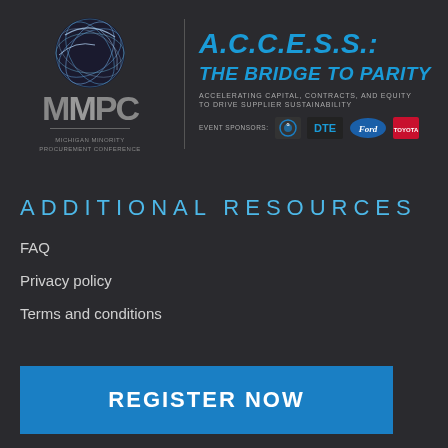[Figure (logo): MMPC Michigan Minority Procurement Conference logo with globe/sphere graphic and A.C.C.E.S.S.: THE BRIDGE TO PARITY event branding, with event sponsors including General Dynamics, DTE, Ford, and Toyota]
ADDITIONAL RESOURCES
FAQ
Privacy policy
Terms and conditions
REGISTER NOW